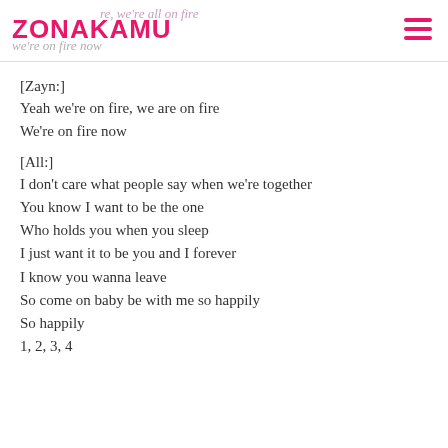ZONAKAMU | fire, we're all on fire | we're on fire now
[Zayn:]
Yeah we're on fire, we are on fire
We're on fire now
[All:]
I don't care what people say when we're together
You know I want to be the one
Who holds you when you sleep
I just want it to be you and I forever
I know you wanna leave
So come on baby be with me so happily
So happily
1, 2, 3, 4